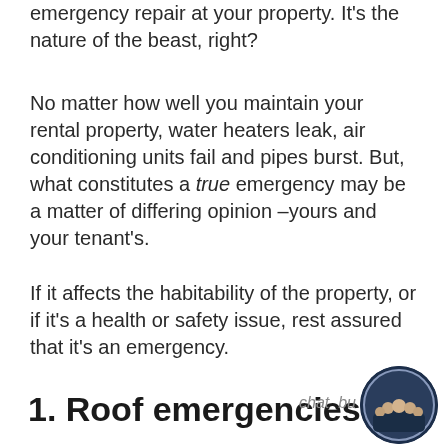emergency repair at your property. It’s the nature of the beast, right?
No matter how well you maintain your rental property, water heaters leak, air conditioning units fail and pipes burst. But, what constitutes a true emergency may be a matter of differing opinion –yours and your tenant’s.
If it affects the habitability of the property, or if it’s a health or safety issue, rest assured that it’s an emergency.
1. Roof emergencies
[Figure (photo): Chat bubble icon showing a group photo of people, with label 'chat_bu...' partially visible]